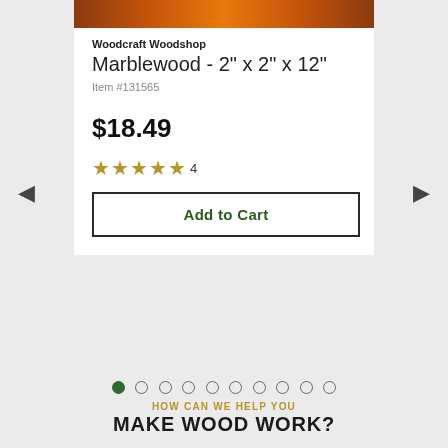[Figure (photo): Close-up photo of marblewood grain showing orange, brown, and red wood textures]
Woodcraft Woodshop
Marblewood - 2" x 2" x 12"
Item #131565
$18.49
★★★★★ 4
Add to Cart
HOW CAN WE HELP YOU
MAKE WOOD WORK?